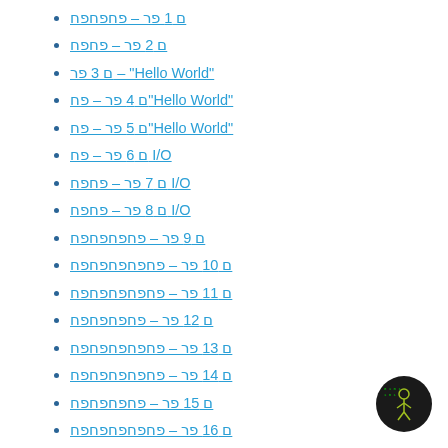ם 1 פר – פחפחפח
ם 2 פר – פחפח
ם 3 פר – "Hello World"
ם 4 פר – פח"Hello World"
ם 5 פר – פח"Hello World"
ם 6 פר – פח I/O
ם 7 פר – פחפח I/O
ם 8 פר – פחפח I/O
ם 9 פר – פחפחפחפח
ם 10 פר – פחפחפחפחפח
ם 11 פר – פחפחפחפחפח
ם 12 פר – פחפחפחפח
ם 13 פר – פחפחפחפחפח
ם 14 פר – פחפחפחפחפח
ם 15 פר – פחפחפחפח
ם 16 פר – פחפחפחפחפח